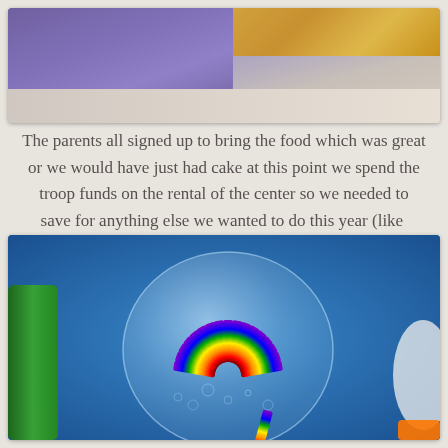[Figure (photo): Top portion of a photo showing a purple cloth/towel and wooden surface in background]
The parents all signed up to bring the food which was great or we would have just had cake at this point we spend the troop funds on the rental of the center so we needed to save for anything else we wanted to do this year (like  COSI).
[Figure (photo): Photo of rainbow striped candy/cookie sticks arranged in a fan pattern on a clear glass plate on a blue surface, with green and orange objects at edges]